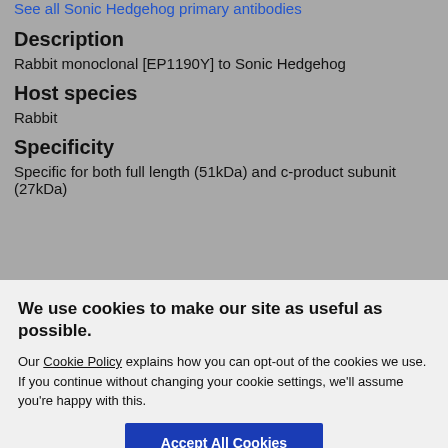See all Sonic Hedgehog primary antibodies
Description
Rabbit monoclonal [EP1190Y] to Sonic Hedgehog
Host species
Rabbit
Specificity
Specific for both full length (51kDa) and c-product subunit (27kDa)
We use cookies to make our site as useful as possible.
Our Cookie Policy explains how you can opt-out of the cookies we use. If you continue without changing your cookie settings, we'll assume you're happy with this.
Accept All Cookies